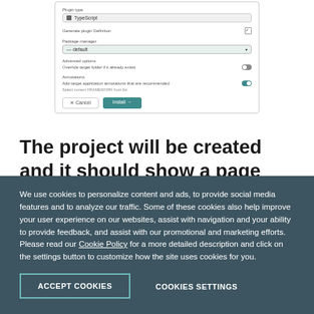[Figure (screenshot): A UI dialog panel showing project/plugin installation options including type selector, package manager dropdown set to 'default', advanced options toggle (off), annotations toggle (on), Cancel and Install buttons]
The project will be created and it should show a page with a list of installed plugins for
We use cookies to personalize content and ads, to provide social media features and to analyze our traffic. Some of these cookies also help improve your user experience on our websites, assist with navigation and your ability to provide feedback, and assist with our promotional and marketing efforts. Please read our Cookie Policy for a more detailed description and click on the settings button to customize how the site uses cookies for you.
ACCEPT COOKIES
COOKIES SETTINGS